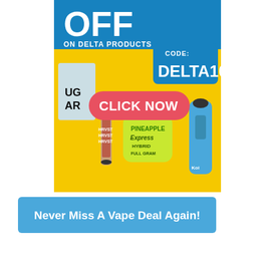[Figure (infographic): Advertisement for Delta products on a yellow background. Shows 'OFF ON DELTA PRODUCTS' in white text on blue bar at top. A blue box reads 'CODE: DELTA10'. A red rounded button reads 'CLICK NOW'. Product images include a Sugar Air vape box, a HRVST cartridge, a Pineapple Express Hybrid Full Gram delta gummy container, and a Koi blue vape device.]
Never Miss A Vape Deal Again!